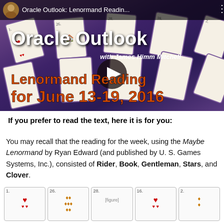[Figure (screenshot): YouTube video thumbnail for 'Oracle Outlook: Lenormand Reading for June 13-19, 2016' with James Himm Mitchell. Shows playing cards spread on a purple background with orange bold text overlay and a play button in the center.]
If you prefer to read the text, here it is for you:
You may recall that the reading for the week, using the Maybe Lenormand by Ryan Edward (and published by U.S. Games Systems, Inc.), consisted of Rider, Book, Gentleman, Stars, and Clover.
[Figure (photo): Five Lenormand card images shown in a horizontal strip at the bottom of the page. Cards numbered 1, 26, 28, 16, and 2 with suit symbols visible.]